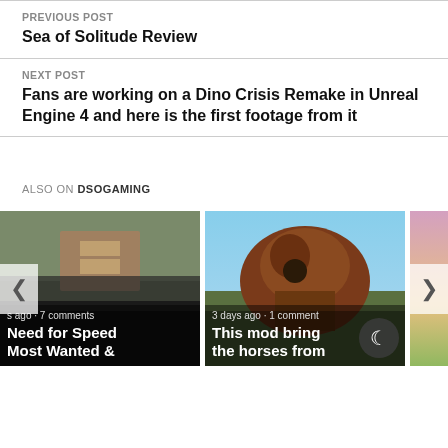PREVIOUS POST
Sea of Solitude Review
NEXT POST
Fans are working on a Dino Crisis Remake in Unreal Engine 4 and here is the first footage from it
ALSO ON DSOGAMING
[Figure (photo): Thumbnail of a street scene for Need for Speed Most Wanted article with caption text 's ago · 7 comments' and title 'Need for Speed Most Wanted &']
[Figure (photo): Thumbnail of a horse for article 'This mod bring the horses from' with caption '3 days ago · 1 comment']
[Figure (photo): Partial thumbnail of a colorful image, partially cropped on right edge]